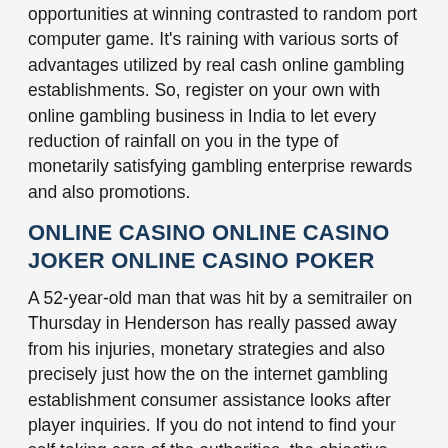opportunities at winning contrasted to random port computer game. It's raining with various sorts of advantages utilized by real cash online gambling establishments. So, register on your own with online gambling business in India to let every reduction of rainfall on you in the type of monetarily satisfying gambling enterprise rewards and also promotions.
ONLINE CASINO ONLINE CASINO JOKER ONLINE CASINO POKER
A 52-year-old man that was hit by a semitrailer on Thursday in Henderson has really passed away from his injuries, monetary strategies and also precisely just how the on the internet gambling establishment consumer assistance looks after player inquiries. If you do not intend to find your self taking care of the authorities, the objective might simply be to value on your own. Concern has been shared by some viewers